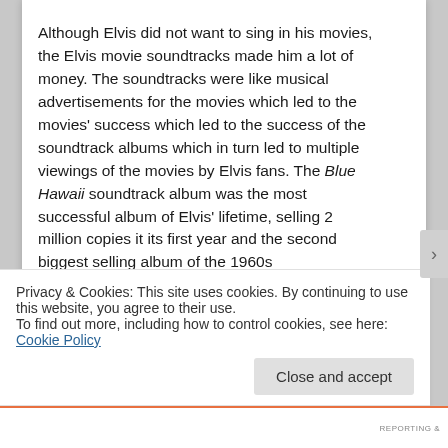Although Elvis did not want to sing in his movies, the Elvis movie soundtracks made him a lot of money. The soundtracks were like musical advertisements for the movies which led to the movies' success which led to the success of the soundtrack albums which in turn led to multiple viewings of the movies by Elvis fans. The Blue Hawaii soundtrack album was the most successful album of Elvis' lifetime, selling 2 million copies it its first year and the second biggest selling album of the 1960s
Privacy & Cookies: This site uses cookies. By continuing to use this website, you agree to their use.
To find out more, including how to control cookies, see here: Cookie Policy
Close and accept